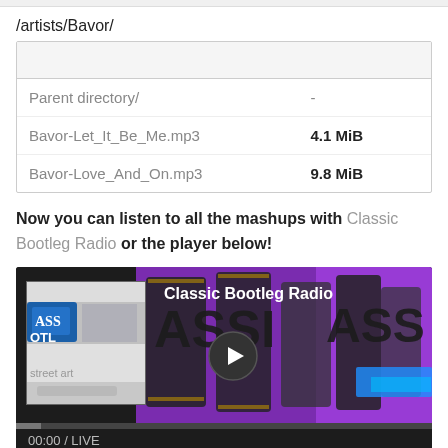/artists/Bavor/
|  |  |
| --- | --- |
| Parent directory/ | - |
| Bavor-Let_It_Be_Me.mp3 | 4.1 MiB |
| Bavor-Love_And_On.mp3 | 9.8 MiB |
Now you can listen to all the mashups with Classic Bootleg Radio or the player below!
[Figure (screenshot): Audio player widget for Classic Bootleg Radio showing album art, play button, progress bar at 00:00/LIVE, and graffiti-style background artwork in purple and black.]